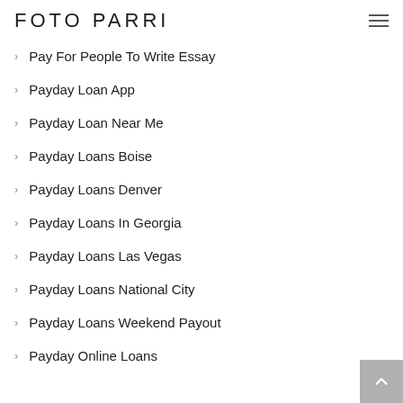FOTO PARRI
Pay For People To Write Essay
Payday Loan App
Payday Loan Near Me
Payday Loans Boise
Payday Loans Denver
Payday Loans In Georgia
Payday Loans Las Vegas
Payday Loans National City
Payday Loans Weekend Payout
Payday Online Loans